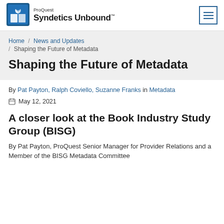[Figure (logo): ProQuest Syndetics Unbound logo with blue book icon]
ProQuest Syndetics Unbound™
Home / News and Updates / Shaping the Future of Metadata
Shaping the Future of Metadata
By Pat Payton, Ralph Coviello, Suzanne Franks in Metadata
May 12, 2021
A closer look at the Book Industry Study Group (BISG)
By Pat Payton, ProQuest Senior Manager for Provider Relations and a Member of the BISG Metadata Committee